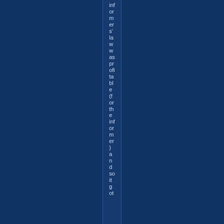informers' law was profitable (for the informer) and so it got